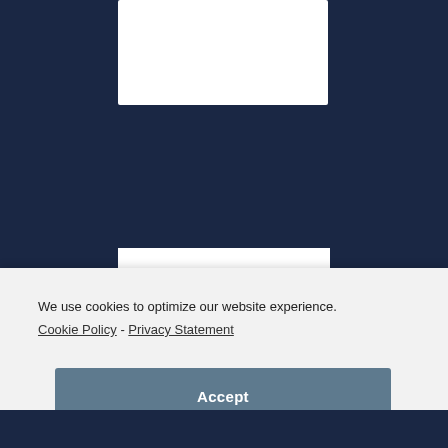[Figure (logo): Seattle Cancer Care logo with yellow sunburst/dotted circle graphic and text 'Seattle Cancer Care']
We use cookies to optimize our website experience.
Cookie Policy - Privacy Statement
Accept